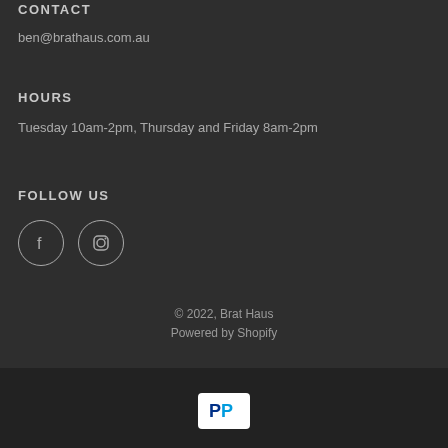CONTACT
ben@brathaus.com.au
HOURS
Tuesday 10am-2pm, Thursday and Friday 8am-2pm
FOLLOW US
[Figure (illustration): Facebook and Instagram social media icon circles]
© 2022, Brat Haus
Powered by Shopify
[Figure (logo): PayPal payment badge — white rectangle with PayPal P logo in blue]